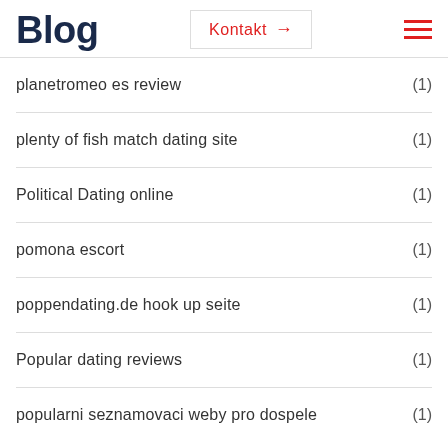Blog
planetromeo es review (1)
plenty of fish match dating site (1)
Political Dating online (1)
pomona escort (1)
poppendating.de hook up seite (1)
Popular dating reviews (1)
popularni seznamovaci weby pro dospele (1)